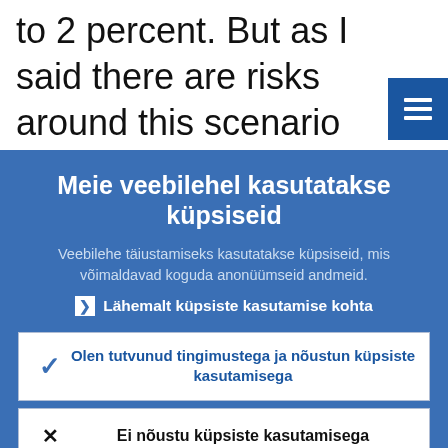to 2 percent. But as I said there are risks around this scenario and we are certainly ready to act in case shocks to the Europe
Meie veebilehel kasutatakse küpsiseid
Veebilehe täiustamiseks kasutatakse küpsiseid, mis võimaldavad koguda anonüümseid andmeid.
Lähemalt küpsiste kasutamise kohta
Olen tutvunud tingimustega ja nõustun küpsiste kasutamisega
Ei nõustu küpsiste kasutamisega